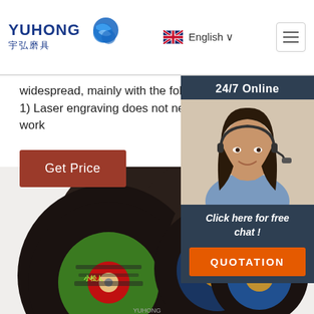YUHONG 宇弘磨具 | English | Navigation
widespread, mainly with the following advantages: 1) Laser engraving does not need to contact the work
Get Price
[Figure (photo): Customer service representative with headset, 24/7 Online chat widget with QUOTATION button]
[Figure (photo): Multiple abrasive cutting discs/grinding wheels with various brand labels including New Kosoku and Yuhong]